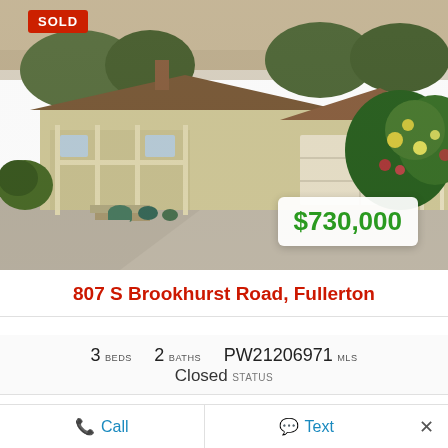[Figure (photo): Front exterior photo of a single-story ranch-style house with brown roof, two-car garage, large driveway, and lush greenery/rose bushes on the right. A red SOLD badge appears top-left and a price tag of $730,000 appears bottom-right.]
807 S Brookhurst Road, Fullerton
3 BEDS   2 BATHS   PW21206971 MLS
Closed STATUS
If you are looking for a Botanical Oasis, this is your home. The front yard landscape is full of beautiful...
📞 Call   💬 Text